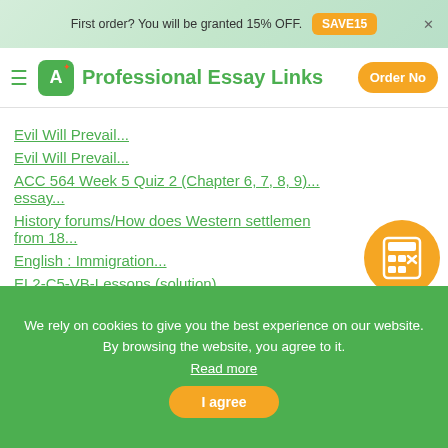First order? You will be granted 15% OFF. SAVE15
Professional Essay Links
Evil Will Prevail...
Evil Will Prevail...
ACC 564 Week 5 Quiz 2 (Chapter 6, 7, 8, 9)... essay...
History forums/How does Western settlement from 18...
English : Immigration...
EL2-C5-VB-Lessons (solution)...
ACC 564 Week 5 Quiz 2 (Chapter 6, 7, 8, 9)...
TEchnical Writing...
essay
[Figure (other): Orange calculator circle icon button]
Order a paper. Study better. Sleep tight. Calculate Price!
We rely on cookies to give you the best experience on our website. By browsing the website, you agree to it. Read more
I agree